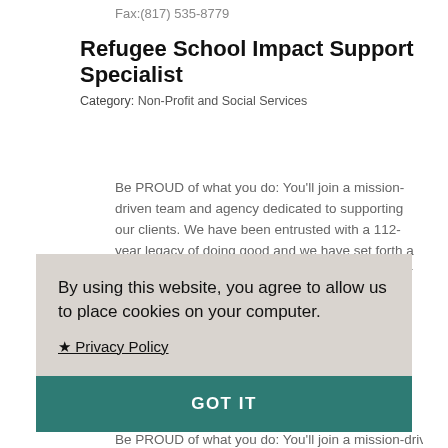Fax:(817) 535-8779
Refugee School Impact Support Specialist
Category: Non-Profit and Social Services
Be PROUD of what you do: You'll join a mission-driven team and agency dedicated to supporting our clients. We have been entrusted with a 112-year legacy of doing good and we have set forth a bold goal of ending poverty in our community. Our services are uniquely positioned to address a myriad of key factors that keep families from reaching their bigger, brighter future. We
By using this website, you agree to allow us to place cookies on your computer.
★ Privacy Policy
GOT IT
Be PROUD of what you do: You'll join a mission-driven